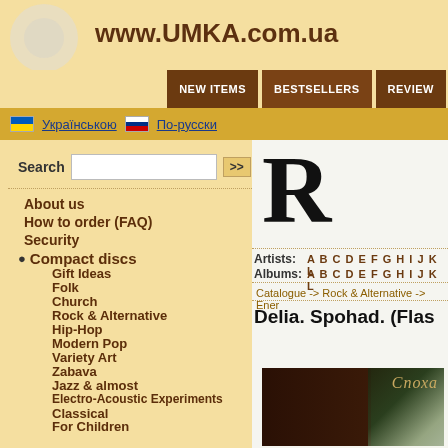www.UMKA.com.ua
NEW ITEMS | BESTSELLERS | REVIEW
Українською  По-русски
Search
About us
How to order (FAQ)
Security
Compact discs
Gift Ideas
Folk
Church
Rock & Alternative
Hip-Hop
Modern Pop
Variety Art
Zabava
Jazz & almost
Electro-Acoustic Experiments
Classical
For Children
Other
Audio Books
MP3-CD
Artists: A B C D E F G H I J K L
Albums: A B C D E F G H I J K L
Catalogue -> Rock & Alternative -> Ener
Delia. Spohad. (Flas